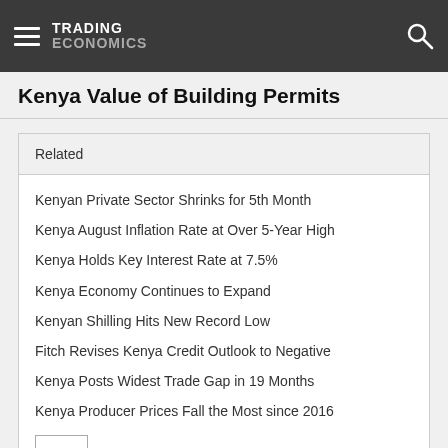TRADING ECONOMICS
Kenya Value of Building Permits
Related
Kenyan Private Sector Shrinks for 5th Month
Kenya August Inflation Rate at Over 5-Year High
Kenya Holds Key Interest Rate at 7.5%
Kenya Economy Continues to Expand
Kenyan Shilling Hits New Record Low
Fitch Revises Kenya Credit Outlook to Negative
Kenya Posts Widest Trade Gap in 19 Months
Kenya Producer Prices Fall the Most since 2016
+